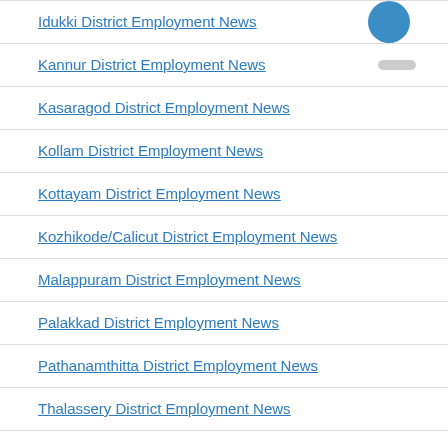Idukki District Employment News
Kannur District Employment News
Kasaragod District Employment News
Kollam District Employment News
Kottayam District Employment News
Kozhikode/Calicut District Employment News
Malappuram District Employment News
Palakkad District Employment News
Pathanamthitta District Employment News
Thalassery District Employment News